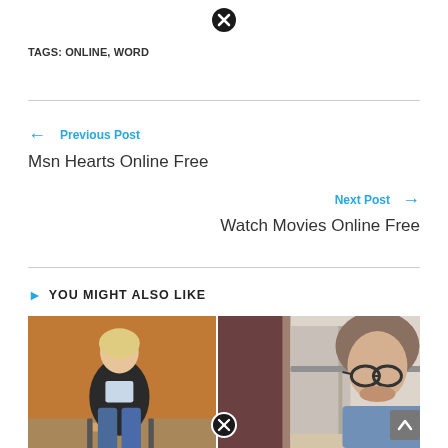[Figure (other): Close/dismiss button (circle with X) at top center]
TAGS: ONLINE, WORD
← Previous Post
Msn Hearts Online Free
Next Post →
Watch Movies Online Free
YOU MIGHT ALSO LIKE
[Figure (photo): Two side-by-side photos: left shows a woman sitting in a chair in a room with brown/orange walls; right shows a woman with glasses looking down, with a dark doorway in background. A close/dismiss button appears at bottom center of the image strip.]